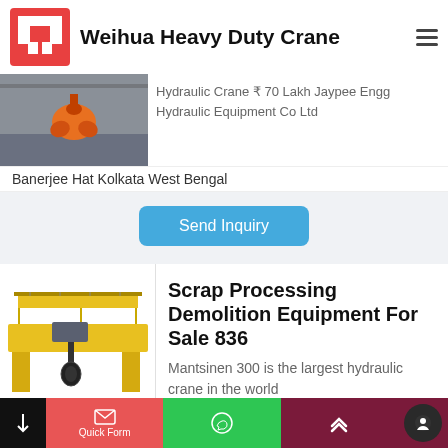Weihua Heavy Duty Crane
[Figure (photo): Industrial crane with orange grapple claw attachment inside a warehouse]
Hydraulic Crane ₹ 70 Lakh Jaypee Engg Hydraulic Equipment Co Ltd
Banerjee Hat Kolkata West Bengal
Send Inquiry
[Figure (photo): Yellow overhead gantry crane / scrap processing demolition equipment]
Scrap Processing Demolition Equipment For Sale 836
Mantsinen 300 is the largest hydraulic crane in the world
Quick Form | WhatsApp | Up arrow | Chat